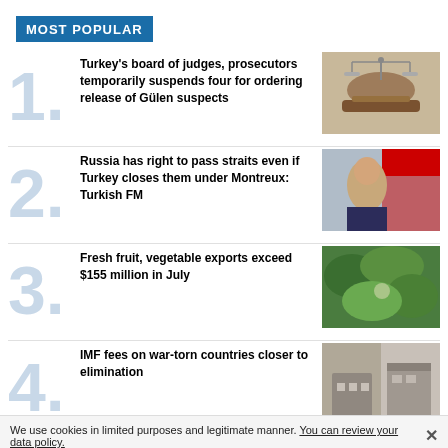MOST POPULAR
Turkey's board of judges, prosecutors temporarily suspends four for ordering release of Gülen suspects
[Figure (photo): Photo of a wooden judge's gavel and scales of justice]
Russia has right to pass straits even if Turkey closes them under Montreux: Turkish FM
[Figure (photo): Photo of Turkish Foreign Minister at a press conference with Turkish flag behind]
Fresh fruit, vegetable exports exceed $155 million in July
[Figure (photo): Photo of green trees and produce]
IMF fees on war-torn countries closer to elimination
[Figure (photo): Photo of IMF building exterior]
We use cookies in limited purposes and legitimate manner. You can review your data policy.